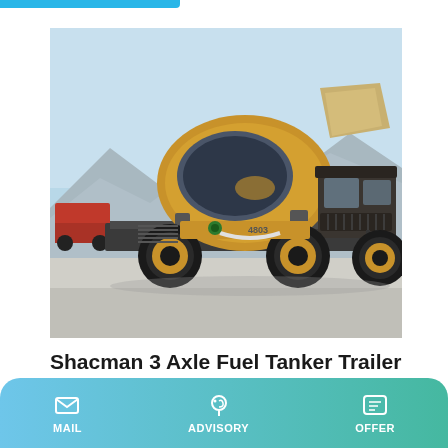[Figure (photo): A yellow self-loading concrete mixer truck photographed from the side in an outdoor setting with mountains and a clear blue sky in the background. The truck has large off-road tires with yellow rims and a rotating drum mixer on the back.]
Shacman 3 Axle Fuel Tanker Trailer 40/42/45 M3, Fuel
MAIL   ADVISORY   OFFER